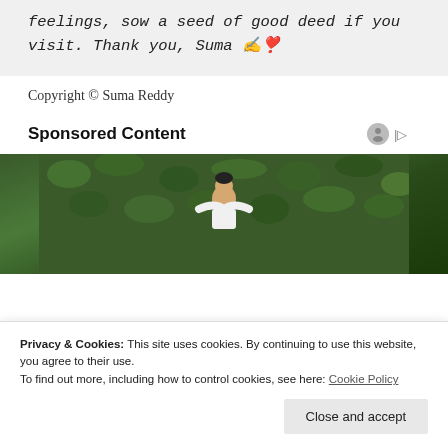feelings, sow a seed of good deed if you visit. Thank you, Suma ✍️❣️
Copyright © Suma Reddy
Sponsored Content
[Figure (photo): Man with arms outstretched smiling in front of a dense green leafy hedge background]
Privacy & Cookies: This site uses cookies. By continuing to use this website, you agree to their use. To find out more, including how to control cookies, see here: Cookie Policy
Close and accept